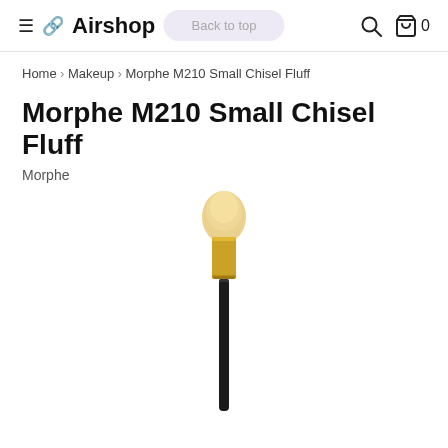≡ 🔗 Airshop  Back to top  🔍 🛍 0
Home > Makeup > Morphe M210 Small Chisel Fluff
Morphe M210 Small Chisel Fluff
Morphe
[Figure (photo): A makeup brush with a fluffy rounded tip, gold ferrule, and long black handle. The Morphe M210 Small Chisel Fluff brush shown vertically against a white background.]